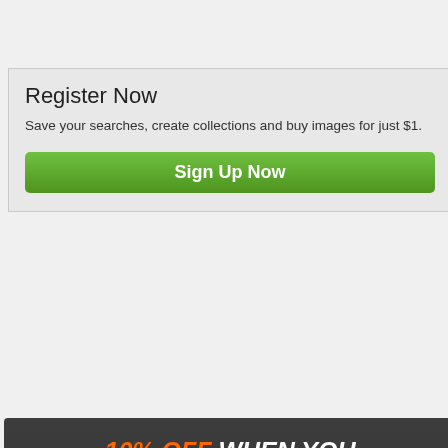Register Now
Save your searches, create collections and buy images for just $1.
Sign Up Now
[Figure (infographic): Dark advertisement banner: '10% OFF WHEN YOU BUY 100 CREDITS' with orange shopping bag and 'SAVE' text, 'LEARN MORE >>' at bottom]
[Figure (screenshot): 2016 Calendar showing months January through November in a dark-framed tablet/clipboard display with crestock.com watermark]
Image ID: 6854986  |  Image Type: Vector
Image Description: 2016 Calendar in clipb...
Keywords:
2016, agenda, board, business, calendar, calendar... element, event, gray, grey, horizontal, layout, mont... september, simple, template, vector, web, website...